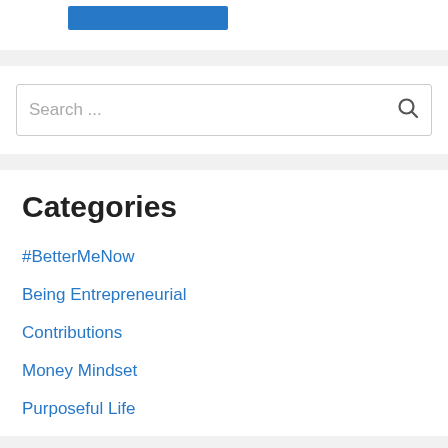[Figure (other): Blue button/banner element at top of page]
Search ...
Categories
#BetterMeNow
Being Entrepreneurial
Contributions
Money Mindset
Purposeful Life